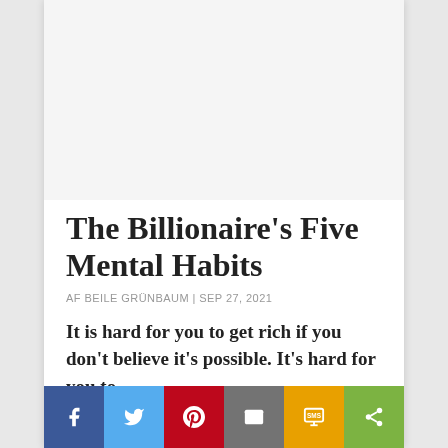[Figure (photo): Blank white image placeholder at top of article card]
The Billionaire's Five Mental Habits
AF BEILE GRÜNBAUM | SEP 27, 2021
It is hard for you to get rich if you don't believe it's possible. It's hard for you to